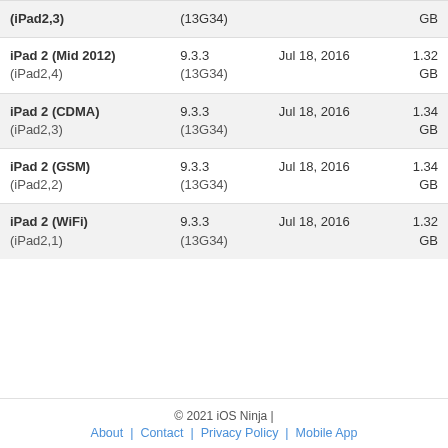| Device | Version | Date | Size |
| --- | --- | --- | --- |
| iPad 2 (Mid 2012)
(iPad2,4) | 9.3.3
(13G34) | Jul 18, 2016 | 1.32 GB |
| iPad 2 (CDMA)
(iPad2,3) | 9.3.3
(13G34) | Jul 18, 2016 | 1.34 GB |
| iPad 2 (GSM)
(iPad2,2) | 9.3.3
(13G34) | Jul 18, 2016 | 1.34 GB |
| iPad 2 (WiFi)
(iPad2,1) | 9.3.3
(13G34) | Jul 18, 2016 | 1.32 GB |
© 2021 iOS Ninja | About | Contact | Privacy Policy | Mobile App